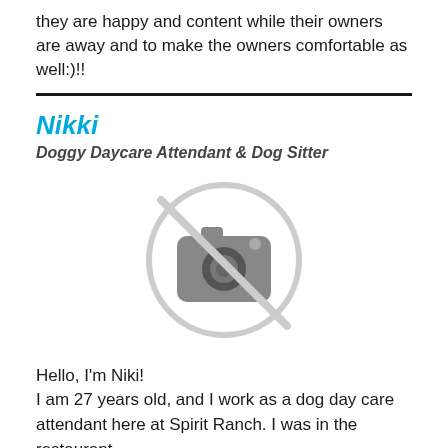they are happy and content while their owners are away and to make the owners comfortable as well:)!!
Nikki
Doggy Daycare Attendant & Dog Sitter
[Figure (other): No photo available placeholder icon — a camera icon with a diagonal line through it inside a circle, rendered in light gray]
Hello, I'm Niki!
I am 27 years old, and I work as a dog day care attendant here at Spirit Ranch. I was in the restaurant